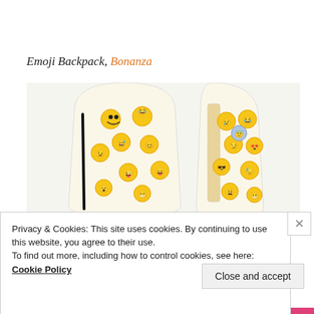Emoji Backpack, Bonanza
[Figure (photo): Two emoji-patterned backpacks side by side. Left backpack shows front view with black zipper and colorful emoji faces on white background. Right backpack shows back view with similar emoji pattern on white background.]
Privacy & Cookies: This site uses cookies. By continuing to use this website, you agree to their use.
To find out more, including how to control cookies, see here: Cookie Policy
Close and accept